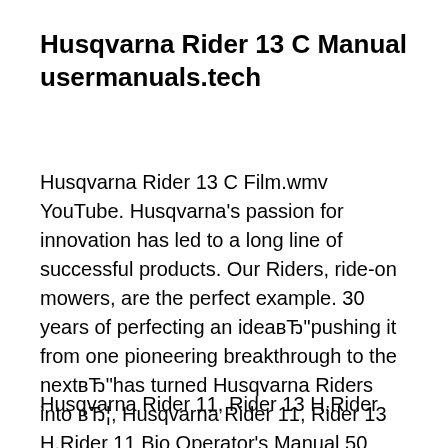Husqvarna Rider 13 C Manual usermanuals.tech
Husqvarna Rider 13 C Film.wmv YouTube. Husqvarna's passion for innovation has led to a long line of successful products. Our Riders, ride-on mowers, are the perfect example. 30 years of perfecting an ideaвЂ“pushing it from one pioneering breakthrough to the nextвЂ“has turned Husqvarna Riders into вЂ¦, Husqvarna Rider 11, Rider 13 H,Rider 11 Bio Operator's Manual 50 Pages -> shorl.com/vapopyjedasy.
Husqvarna Rider 11, Rider 13 H,Rider